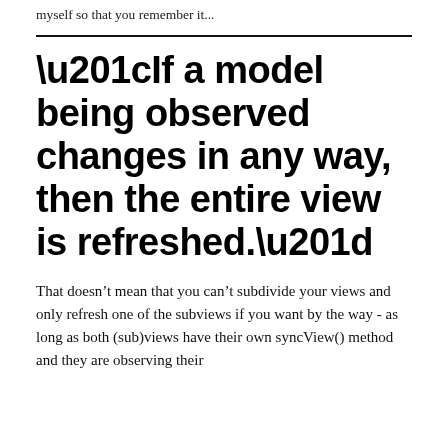myself so that you remember it...
“If a model being observed changes in any way, then the entire view is refreshed.”
That doesn’t mean that you can’t subdivide your views and only refresh one of the subviews if you want by the way - as long as both (sub)views have their own syncView() method and they are observing their